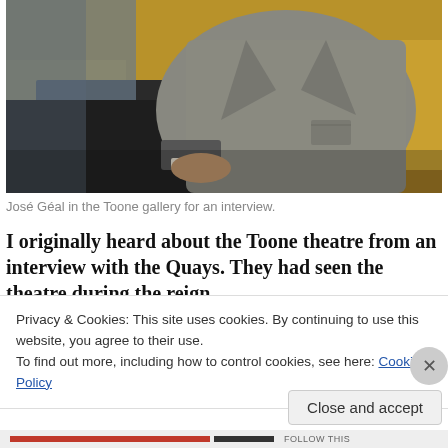[Figure (photo): A person wearing a grey blazer jacket seated on a golden/mustard yellow chair or sofa, photographed from the torso down. The image is cropped, showing arms crossed over lap.]
José Géal in the Toone gallery for an interview.
I originally heard about the Toone theatre from an interview with the Quays. They had seen the theatre during the reign
Privacy & Cookies: This site uses cookies. By continuing to use this website, you agree to their use.
To find out more, including how to control cookies, see here: Cookie Policy
Close and accept